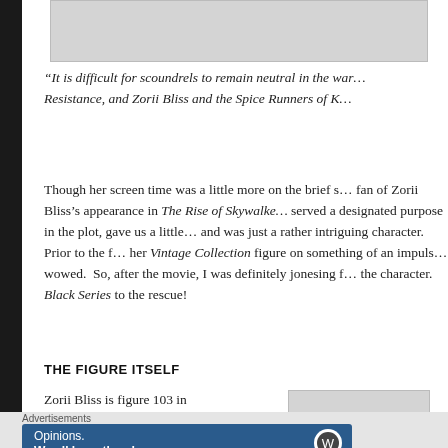[Figure (photo): Top portion of an image, cropped, gray placeholder]
“It is difficult for scoundrels to remain neutral in the war… Resistance, and Zorii Bliss and the Spice Runners of K…
Though her screen time was a little more on the brief side, I’m a fan of Zorii Bliss’s appearance in The Rise of Skywalker. She served a designated purpose in the plot, gave us a little mystery, and was just a rather intriguing character. Prior to the film, I picked her Vintage Collection figure on something of an impulse buy and was wowed. So, after the movie, I was definitely jonesing for more of the character. Black Series to the rescue!
THE FIGURE ITSELF
Zorii Bliss is figure 103 in the Star Wars: The Black Series line-up, making her…
[Figure (photo): Partial image on right side, gray placeholder]
Advertisements
[Figure (screenshot): WordPress Opinions advertisement banner: Opinions. We all have them!]